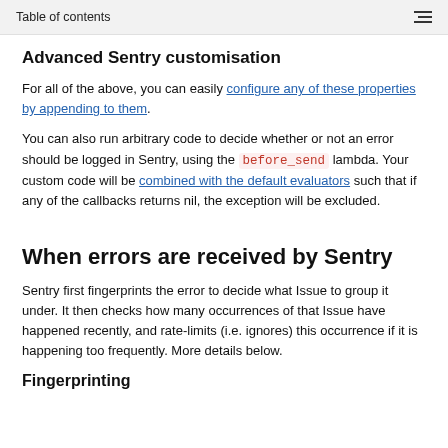Table of contents
Advanced Sentry customisation
For all of the above, you can easily configure any of these properties by appending to them.
You can also run arbitrary code to decide whether or not an error should be logged in Sentry, using the before_send lambda. Your custom code will be combined with the default evaluators such that if any of the callbacks returns nil, the exception will be excluded.
When errors are received by Sentry
Sentry first fingerprints the error to decide what Issue to group it under. It then checks how many occurrences of that Issue have happened recently, and rate-limits (i.e. ignores) this occurrence if it is happening too frequently. More details below.
Fingerprinting